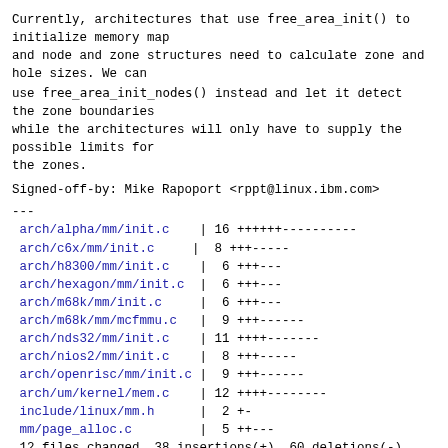Currently, architectures that use free_area_init() to initialize memory map
and node and zone structures need to calculate zone and hole sizes. We can
use free_area_init_nodes() instead and let it detect the zone boundaries
while the architectures will only have to supply the possible limits for
the zones.
Signed-off-by: Mike Rapoport <rppt@linux.ibm.com>
---
 arch/alpha/mm/init.c    | 16 ++++++----------
 arch/c6x/mm/init.c      |  8 +++-----
 arch/h8300/mm/init.c    |  6 +++---
 arch/hexagon/mm/init.c  |  6 +++---
 arch/m68k/mm/init.c     |  6 +++---
 arch/m68k/mm/mcfmmu.c   |  9 +++------
 arch/nds32/mm/init.c    | 11 ++++-------
 arch/nios2/mm/init.c    |  8 +++-----
 arch/openrisc/mm/init.c |  9 +++------
 arch/um/kernel/mem.c    | 12 ++++--------
 include/linux/mm.h      |  2 +-
 mm/page_alloc.c         |  5 ++---
 12 files changed, 38 insertions(+), 60 deletions(-)
diff --git a/arch/alpha/mm/init.c
b/arch/alpha/mm/init.c
index 12e218d3792a..667cd21393b5 100644
--- a/arch/alpha/mm/init.c